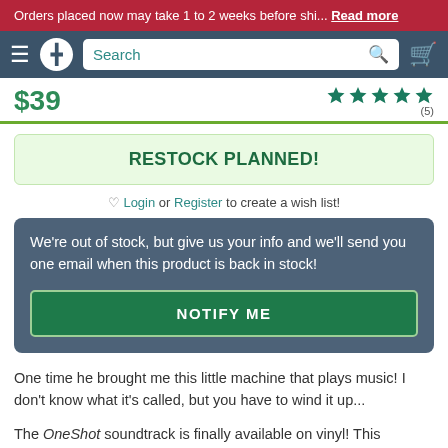Orders placed now may take 1 to 2 weeks before shi... Read more
[Figure (screenshot): Navigation bar with hamburger menu, logo, search bar, and shopping cart icon]
$39
[Figure (other): 5 green star rating icons with (5) review count]
RESTOCK PLANNED!
♡ Login or Register to create a wish list!
We're out of stock, but give us your info and we'll send you one email when this product is back in stock!
NOTIFY ME
One time he brought me this little machine that plays music! I don't know what it's called, but you have to wind it up...
The OneShot soundtrack is finally available on vinyl! This